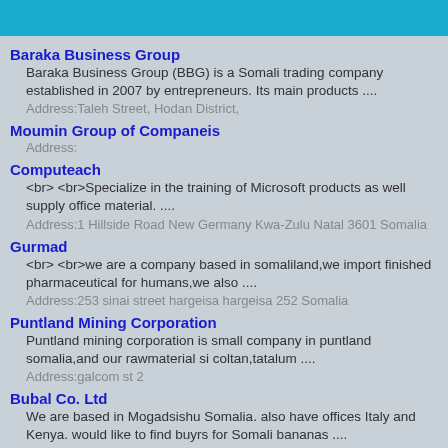Baraka Business Group
Baraka Business Group (BBG) is a Somali trading company established in 2007 by entrepreneurs. Its main products ....
Address:Taleh Street, Hodan District,
Moumin Group of Companeis
Address:
Computeach
<br> <br>Specialize in the training of Microsoft products as well supply office material. ....
Address:1 Hillside Road New Germany Kwa-Zulu Natal 3601 Somalia
Gurmad
<br> <br>we are a company based in somaliland,we import finished pharmaceutical for humans,we also ....
Address:253 sinai street hargeisa hargeisa 252 Somalia
Puntland Mining Corporation
Puntland mining corporation is small company in puntland somalia,and our rawmaterial si coltan,tatalum ....
Address:galcom st 2
Bubal Co. Ltd
We are based in Mogadsishu Somalia. also have offices Italy and Kenya. would like to find buyrs for Somali bananas ....
Address:Aden Adde Str., Mogadishu, Somalia, Somalia
Puntland Gum Ltd
We export 100% pure Frankincense and Myrrh Gum to